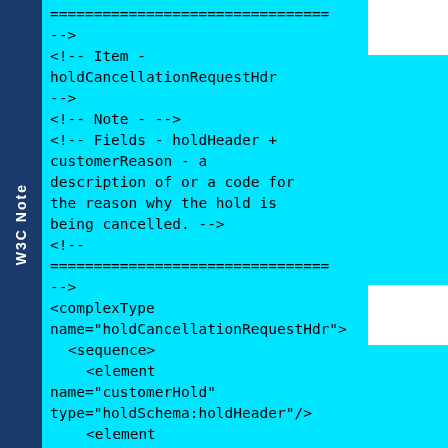W3C Note
================================
-->
<!-- Item - holdCancellationRequestHdr
-->
<!-- Note - -->
<!-- Fields - holdHeader + customerReason - a description of or a code for the reason why the hold is being cancelled. -->
<!--
================================
-->
<complexType name="holdCancellationRequestHdr">
  <sequence>
    <element name="customerHold" type="holdSchema:holdHeader"/>
    <element name="customerReason" type="string"/>
  </sequence>
</complexType>